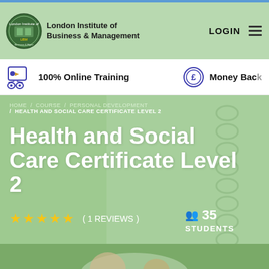[Figure (logo): London Institute of Business & Management logo with circular crest]
London Institute of Business & Management  LOGIN
100% Online Training
Money Back
HOME / COURSE / PERSONAL DEVELOPMENT / HEALTH AND SOCIAL CARE CERTIFICATE LEVEL 2
Health and Social Care Certificate Level 2
( 1 REVIEWS )
35 STUDENTS